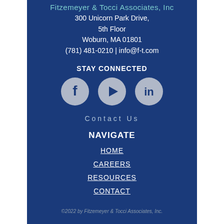Fitzemeyer & Tocci Associates, Inc
300 Unicorn Park Drive,
5th Floor
Woburn, MA 01801
(781) 481-0210 | info@f-t.com
STAY CONNECTED
[Figure (illustration): Three circular social media icons: Facebook (f), YouTube (play button), LinkedIn (in) on a dark blue background]
Contact Us
NAVIGATE
HOME
CAREERS
RESOURCES
CONTACT
©2022 by Fitzemeyer & Tocci Associates, Inc.